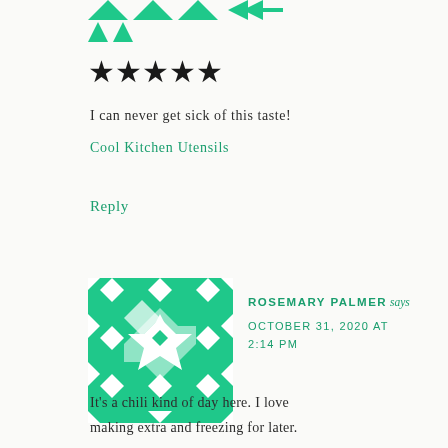[Figure (logo): Green geometric/arrow logo at top]
[Figure (other): Five black star rating]
I can never get sick of this taste!
Cool Kitchen Utensils
Reply
[Figure (illustration): Green and white geometric quilt-pattern avatar for Rosemary Palmer]
ROSEMARY PALMER says
OCTOBER 31, 2020 AT 2:14 PM
It's a chili kind of day here. I love making extra and freezing for later.